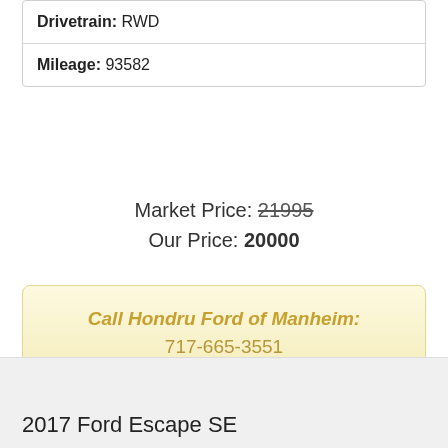| Drivetrain: RWD |
| Mileage: 93582 |
Market Price: 21995
Our Price: 20000
Call Hondru Ford of Manheim:
717-665-3551
View Details »
2017 Ford Escape SE